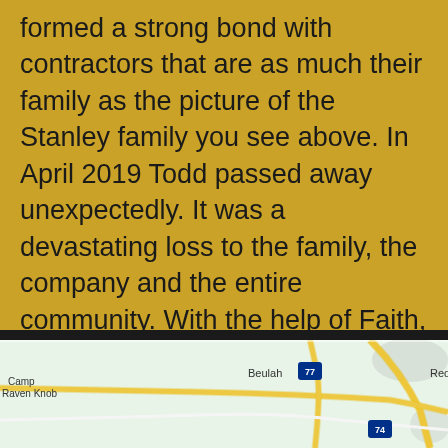formed a strong bond with contractors that are as much their family as the picture of the Stanley family you see above. In April 2019 Todd passed away unexpectedly. It was a devastating loss to the family, the company and the entire community. With the help of Faith, Family & Friends Mitch has continued to keep Stanley Homes thriving and providing quality homes to customers.
[Figure (map): Google Maps screenshot showing roads near Camp Raven Knob, Beulah (Interstate 77), Red Brush, and Interstate 74 in a green/road map style.]